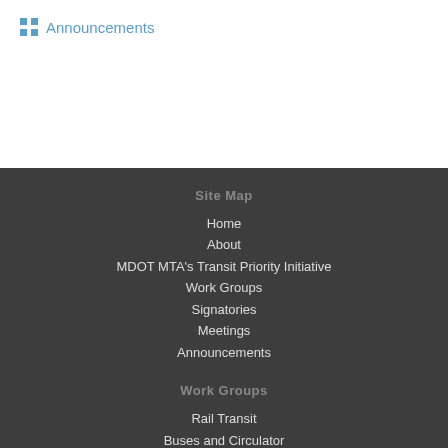Announcements
Site Map
Home
About
MDOT MTA's Transit Priority Initiative
Work Groups
Signatories
Meetings
Announcements
Work Groups
Rail Transit
Buses and Circulator
Water Taxi
Bike Baltimore